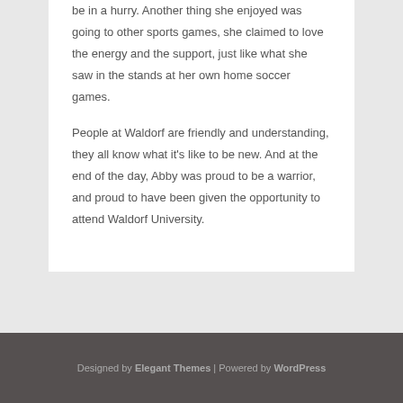be in a hurry. Another thing she enjoyed was going to other sports games, she claimed to love the energy and the support, just like what she saw in the stands at her own home soccer games.
People at Waldorf are friendly and understanding, they all know what it's like to be new. And at the end of the day, Abby was proud to be a warrior, and proud to have been given the opportunity to attend Waldorf University.
Designed by Elegant Themes | Powered by WordPress